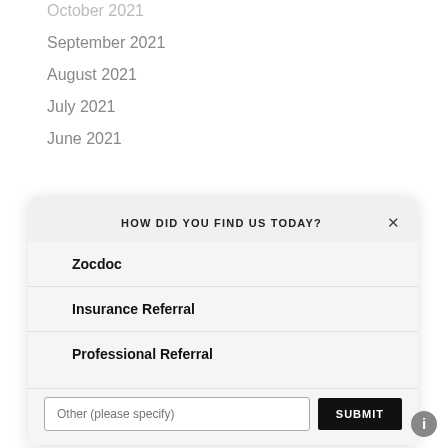October 2021
September 2021
August 2021
July 2021
June 2021
HOW DID YOU FIND US TODAY?
Zocdoc
Insurance Referral
Professional Referral